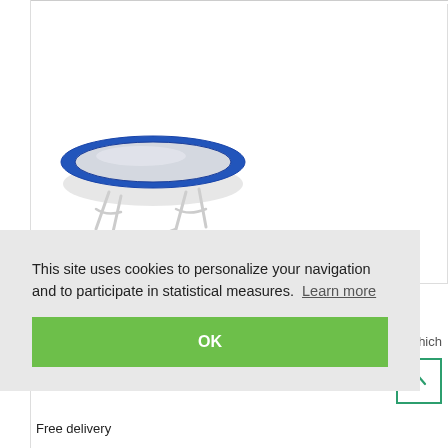[Figure (photo): Product photo of a round trampoline with blue padding rim and white/grey metal legs on white background]
This site uses cookies to personalize your navigation and to participate in statistical measures. Learn more
OK
hich
on
Free delivery